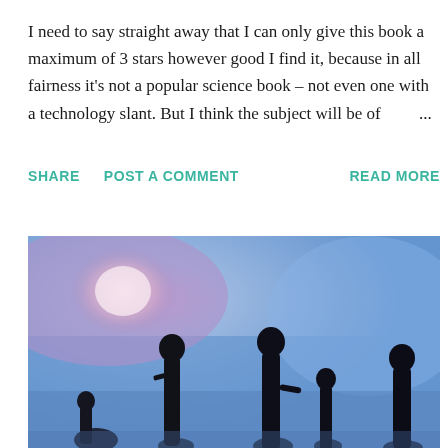I need to say straight away that I can only give this book a maximum of 3 stars however good I find it, because in all fairness it's not a popular science book – not even one with a technology slant. But I think the subject will be of        ...
SHARE   POST A COMMENT   READ MORE
[Figure (photo): Silhouettes of several people (adults and children) walking against a blurred blue and purple sky background with a glowing pink/white light in the upper left area.]